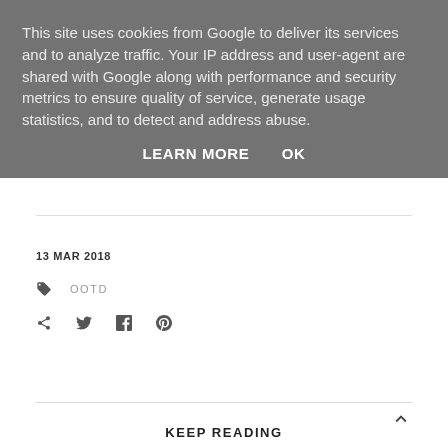This site uses cookies from Google to deliver its services and to analyze traffic. Your IP address and user-agent are shared with Google along with performance and security metrics to ensure quality of service, generate usage statistics, and to detect and address abuse.
LEARN MORE   OK
13 MAR 2018
OOTD
KEEP READING